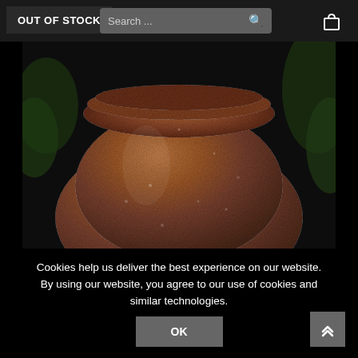OUT OF STOCK | Search ... [search icon] [cart icon]
[Figure (photo): Close-up photo of a large rustic terracotta/stoneware pottery jar with a rounded lid rim, textured rough clay surface in brown and reddish-brown tones, photographed outdoors with green foliage visible in the background.]
Cookies help us deliver the best experience on our website. By using our website, you agree to our use of cookies and similar technologies.
OK